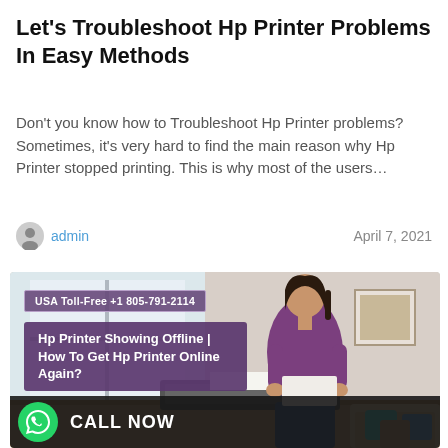Let's Troubleshoot Hp Printer Problems In Easy Methods
Don't you know how to Troubleshoot Hp Printer problems? Sometimes, it's very hard to find the main reason why Hp Printer stopped printing. This is why most of the users…
admin   April 7, 2021
[Figure (photo): Woman in purple sweater using an HP printer on a desk. Overlaid text badges: 'USA Toll-Free +1 805-791-2114' and 'Hp Printer Showing Offline | How To Get Hp Printer Online Again?'. Bottom bar with WhatsApp icon and CALL NOW text.]